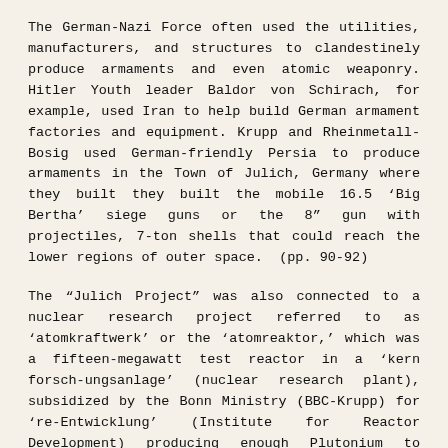The German-Nazi Force often used the utilities, manufacturers, and structures to clandestinely produce armaments and even atomic weaponry. Hitler Youth leader Baldor von Schirach, for example, used Iran to help build German armament factories and equipment. Krupp and Rheinmetall-Bosig used German-friendly Persia to produce armaments in the Town of Julich, Germany where they built they built the mobile 16.5 'Big Bertha' siege guns or the 8" gun with projectiles, 7-ton shells that could reach the lower regions of outer space.  (pp. 90-92)
The "Julich Project" was also connected to a nuclear research project referred to as 'atomkraftwerk' or the 'atomreaktor,' which was a fifteen-megawatt test reactor in a 'kern forsch-ungsanlage' (nuclear research plant), subsidized by the Bonn Ministry (BBC-Krupp) for 're-Entwicklung' (Institute for Reactor Development) producing enough Plutonium to achieve critical mass in 1967, also encompassing deuterium and tritium.
Oddly, in 1952, in connection with Alfred Krupp, the U.S. High Commissioner for Germany, John J. Cloy, working also for the German I.G. Farben complex, pardoned Krupp from wartimes